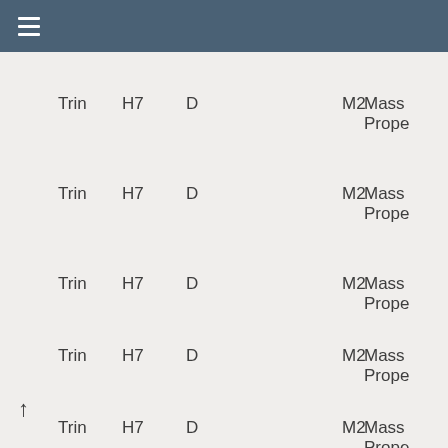≡ Prope
| Trin | H7 | D |  | M2 | Mass Prope |
| --- | --- | --- | --- | --- | --- |
| Trin | H7 | D |  | M2 | Mass Prope |
| Trin | H7 | D |  | M2 | Mass Prope |
| Trin | H7 | D |  | M2 | Mass Prope |
| Trin | H7 | D |  | M2 | Mass Prope |
| Trin | H7 | D |  | M2 | Mass Prope |